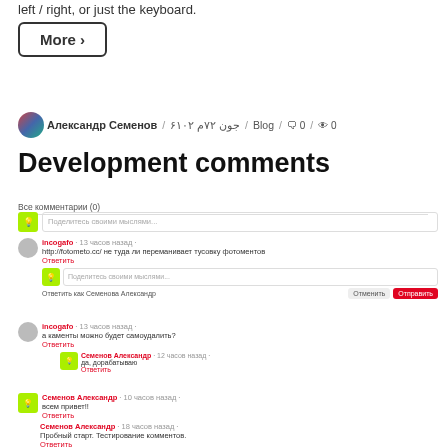left / right, or just the keyboard.
More ›
Александр Семенов / جون ۲۷م ۲۰۱۶ / Blog / 🗨 0 / 👁 0
Development comments
Все комментарии (0)
incogafo · 13 часов назад
http://fotometo.cc/ не туда ли переманивает тусовку фотоментов
Ответить
Поделитесь своими мыслями...
Ответить как Семенова Александр
Отменить
Отправить
incogafo · 13 часов назад
а каменты можно будет самоудалить?
Ответить
Семенов Александр · 12 часов назад
да, дорабатываю
Ответить
Семенов Александр · 10 часов назад
всем привет!!
Ответить
Семенов Александр · 18 часов назад
Пробный старт. Тестирование комментов.
Ответить